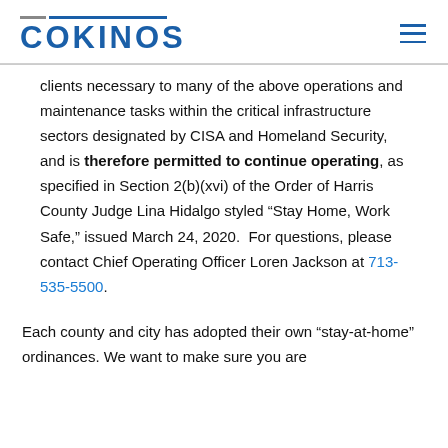COKINOS
clients necessary to many of the above operations and maintenance tasks within the critical infrastructure sectors designated by CISA and Homeland Security, and is therefore permitted to continue operating, as specified in Section 2(b)(xvi) of the Order of Harris County Judge Lina Hidalgo styled “Stay Home, Work Safe,” issued March 24, 2020.  For questions, please contact Chief Operating Officer Loren Jackson at 713-535-5500.
Each county and city has adopted their own “stay-at-home” ordinances. We want to make sure you are